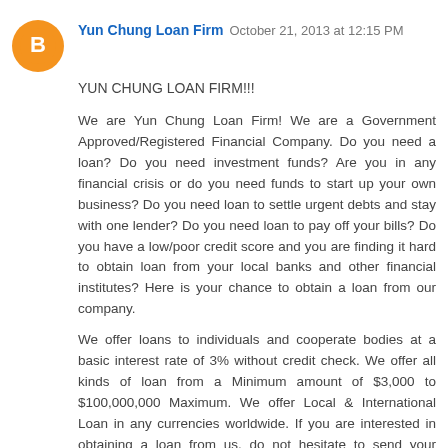Yun Chung Loan Firm  October 21, 2013 at 12:15 PM
YUN CHUNG LOAN FIRM!!!
We are Yun Chung Loan Firm! We are a Government Approved/Registered Financial Company. Do you need a loan? Do you need investment funds? Are you in any financial crisis or do you need funds to start up your own business? Do you need loan to settle urgent debts and stay with one lender? Do you need loan to pay off your bills? Do you have a low/poor credit score and you are finding it hard to obtain loan from your local banks and other financial institutes? Here is your chance to obtain a loan from our company.
We offer loans to individuals and cooperate bodies at a basic interest rate of 3% without credit check. We offer all kinds of loan from a Minimum amount of $3,000 to $100,000,000 Maximum. We offer Local & International Loan in any currencies worldwide. If you are interested in obtaining a loan from us, do not hesitate to send your request to: {yunchungloanfirm@yahoo.com.sg} And the